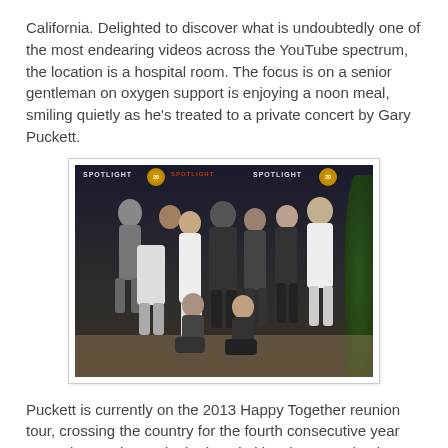California. Delighted to discover what is undoubtedly one of the most endearing videos across the YouTube spectrum, the location is a hospital room. The focus is on a senior gentleman on oxygen support is enjoying a noon meal, smiling quietly as he's treated to a private concert by Gary Puckett.
[Figure (photo): Group photo of approximately 12 people posing in front of a Spotlight branded backdrop/banner. Some people are standing, some are crouching. The backdrop has 'SPOTLIGHT' text repeated and anniversary logos.]
Puckett is currently on the 2013 Happy Together reunion tour, crossing the country for the fourth consecutive year now. The gentleman in the hospital just happened to be Scott Jacobs' beloved father.